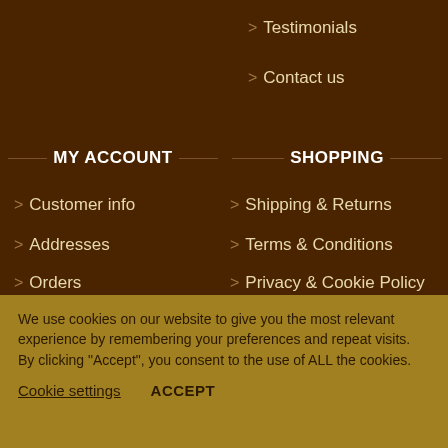> Testimonials
> Contact us
MY ACCOUNT
SHOPPING
> Customer info
> Shipping & Returns
> Addresses
> Terms & Conditions
> Orders
> Privacy & Cookie Policy
We use cookies on our website to give you the most relevant experience by remembering your preferences and repeat visits. By clicking "Accept", you consent to the use of ALL the cookies.
Cookie settings   ACCEPT